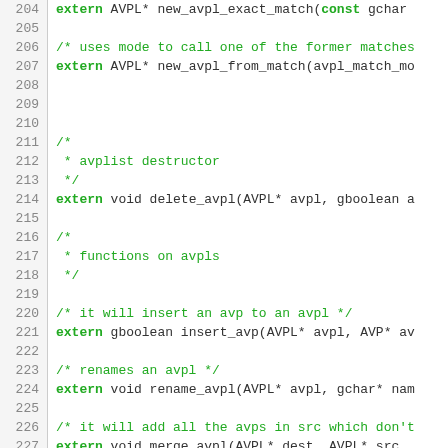Code listing lines 204-230, C source file with function declarations for AVPL operations
[Figure (screenshot): Source code listing showing C header file declarations for AVPL (Attribute Value Pair List) functions including new_avpl_exact_match, new_avpl_from_match, delete_avpl, insert_avp, rename_avpl, merge_avpl, with line numbers 204-230 and green syntax highlighting for keywords and comments.]